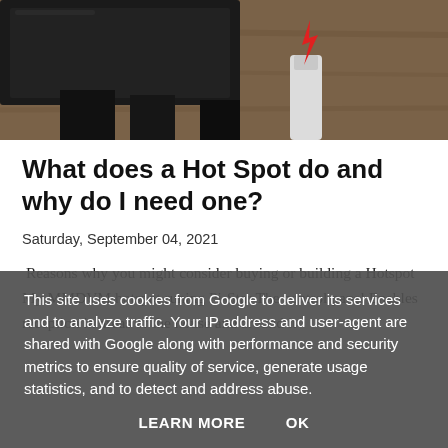[Figure (photo): Photo of a black hotspot device with cables plugged in, including a white USB cable with a red lightning bolt symbol, resting on a wooden surface.]
What does a Hot Spot do and why do I need one?
Saturday, September 04, 2021
Reasons why you might consider buying or building a Hotspot My MMDVM hotspot runing Pi-Star The control panel Enables reception in areas of the house and around it
This site uses cookies from Google to deliver its services and to analyze traffic. Your IP address and user-agent are shared with Google along with performance and security metrics to ensure quality of service, generate usage statistics, and to detect and address abuse.
LEARN MORE   OK